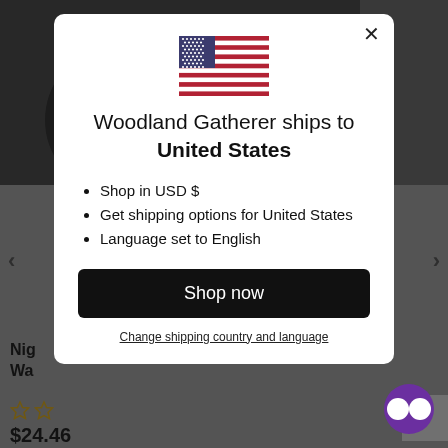[Figure (screenshot): Background website page showing furniture product with navigation arrows and partial text 'Nig... Wa...' with star ratings and price $24.46]
[Figure (illustration): US flag SVG illustration]
Woodland Gatherer ships to United States
Shop in USD $
Get shipping options for United States
Language set to English
Shop now
Change shipping country and language